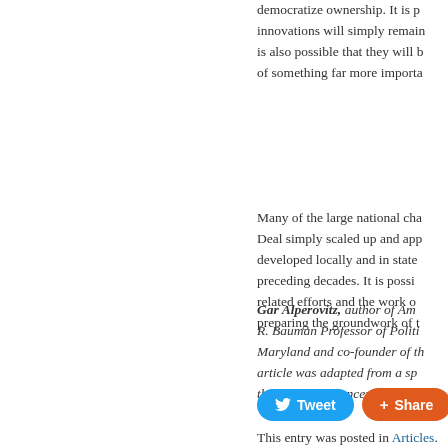democratize ownership. It is p innovations will simply remain is also possible that they will b of something far more importa
Many of the large national cha Deal simply scaled up and app developed locally and in state preceding decades. It is possi related efforts and the work o preparing the groundwork of t
Gar Alperovitz, author of Am R. Bauman Professor of Politi Maryland and co-founder of th article was adapted from a sp the Center of Concern in Was
[Figure (other): Tweet and Share social media buttons]
This entry was posted in Articles.